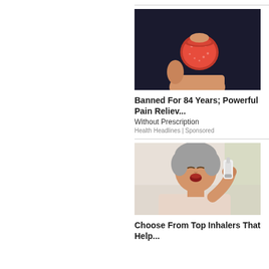[Figure (photo): A hand holding a red gummy candy/supplement against a dark background]
Banned For 84 Years; Powerful Pain Reliev...
Without Prescription
Health Headlines | Sponsored
[Figure (photo): A middle-aged woman with short grey hair using an inhaler, mouth open]
Choose From Top Inhalers That Help...